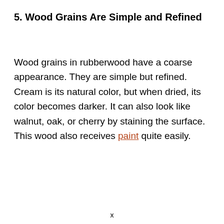5. Wood Grains Are Simple and Refined
Wood grains in rubberwood have a coarse appearance. They are simple but refined. Cream is its natural color, but when dried, its color becomes darker. It can also look like walnut, oak, or cherry by staining the surface. This wood also receives paint quite easily.
x